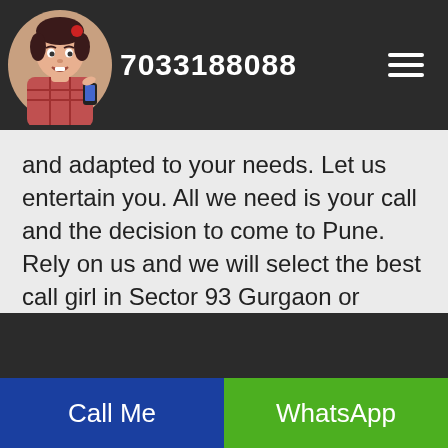7033188088
and adapted to your needs. Let us entertain you. All we need is your call and the decision to come to Pune. Rely on us and we will select the best call girl in Sector 93 Gurgaon or Sector 93 Gurgaon escorts for your joy and entertainment. Take what you deserve and spend the best time together with one of the most amazing girls that live in Sector 93 Gurgaon!
Call Me | WhatsApp